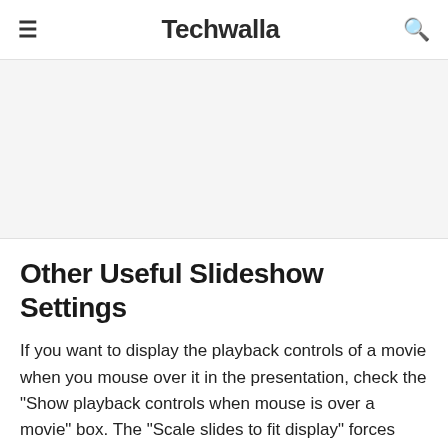≡  Techwalla  🔍
[Figure (other): Advertisement / gray placeholder block]
Other Useful Slideshow Settings
If you want to display the playback controls of a movie when you mouse over it in the presentation, check the "Show playback controls when mouse is over a movie" box. The "Scale slides to fit display" forces smaller